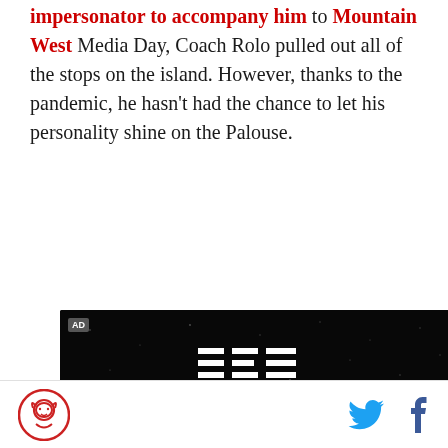impersonator to accompany him to Mountain West Media Day, Coach Rolo pulled out all of the stops on the island. However, thanks to the pandemic, he hasn't had the chance to let his personality shine on the Palouse.
[Figure (screenshot): IBM advertisement video thumbnail with dark space background showing 'ASTRO' in large yellow letters and a play button. AD label in top-left corner.]
Logo icon, Twitter icon, Facebook icon